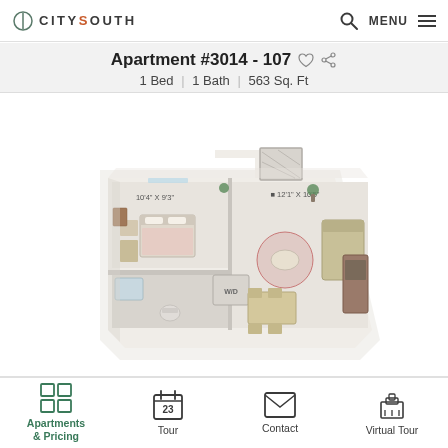CitySouth — MENU navigation bar
Apartment #3014 - 107
1 Bed | 1 Bath | 563 Sq. Ft
[Figure (schematic): 3D isometric floor plan of a 1-bedroom, 1-bathroom apartment. Left section shows bedroom (10'4" x 9'3") with bed, nightstand, dresser. Center area shows bathroom, hallway, W/D closet. Right section shows living/dining area (12'1" x 10'5") with sofa, round rug, dining table, kitchen.]
Photos/3D Tour >   Location in Community >
Apartments & Pricing | Tour | Contact | Virtual Tour